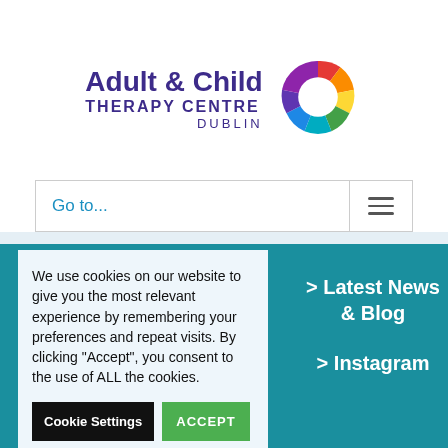[Figure (logo): Adult & Child Therapy Centre Dublin logo with colorful hands circle graphic]
Go to...
We use cookies on our website to give you the most relevant experience by remembering your preferences and repeat visits. By clicking “Accept”, you consent to the use of ALL the cookies.
Cookie Settings
ACCEPT
Read More
> Latest News & Blog
> Instagram